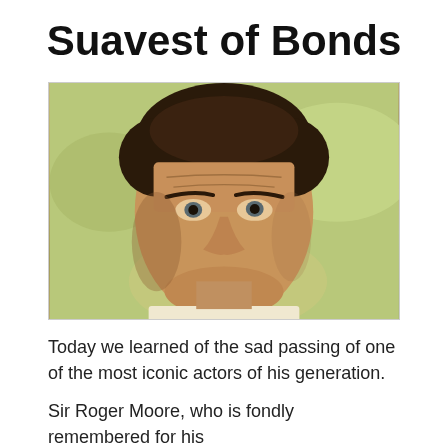Suavest of Bonds
[Figure (photo): Portrait photo of Sir Roger Moore, a man with dark hair, looking slightly to the side, wearing a light-colored shirt, with a blurred outdoor background.]
Today we learned of the sad passing of one of the most iconic actors of his generation.
Sir Roger Moore, who is fondly remembered for his